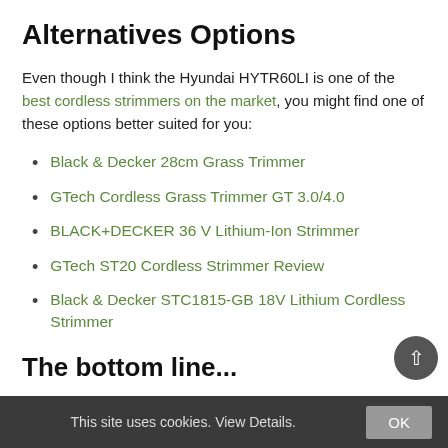Alternatives Options
Even though I think the Hyundai HYTR60LI is one of the best cordless strimmers on the market, you might find one of these options better suited for you:
Black & Decker 28cm Grass Trimmer
GTech Cordless Grass Trimmer GT 3.0/4.0
BLACK+DECKER 36 V Lithium-Ion Strimmer
GTech ST20 Cordless Strimmer Review
Black & Decker STC1815-GB 18V Lithium Cordless Strimmer
The bottom line...
Overall the Hyundai HYTR60LI cordless st...
This site uses cookies. View Details.